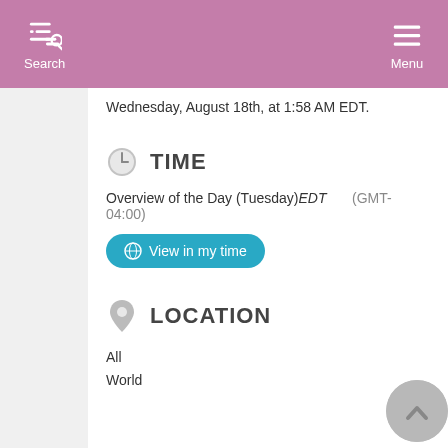Search   Menu
Wednesday, August 18th, at 1:58 AM EDT.
TIME
Overview of the Day (Tuesday)EDT    (GMT-04:00)
View in my time
LOCATION
All
World